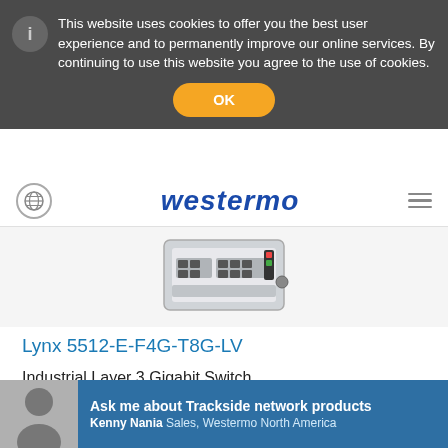This website uses cookies to offer you the best user experience and to permanently improve our online services. By continuing to use this website you agree to the use of cookies.
OK
[Figure (logo): Westermo logo in bold italic blue text]
[Figure (photo): Westermo Lynx 5512-E-F4G-T8G-LV industrial network switch device photo]
Lynx 5512-E-F4G-T8G-LV
Industrial Layer 3 Gigabit Switch
8 x RJ45, 10/100/1000 Mbit/s
Ask me about Trackside network products
Kenny Nania Sales, Westermo North America